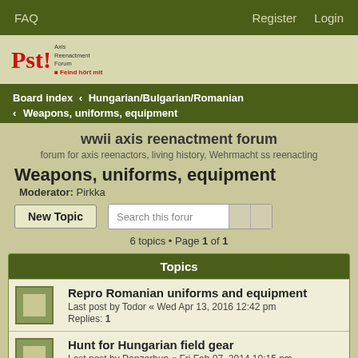FAQ   Register   Login
[Figure (logo): Pst! Axis Reenactment Forum logo with tagline 'Feind hört mit']
Board index › Hungarian/Bulgarian/Romanian › Weapons, uniforms, equipment
wwii axis reenactment forum
forum for axis reenactors, living history, Wehrmacht ss reenacting
Weapons, uniforms, equipment
Moderator: Pirkka
6 topics • Page 1 of 1
| Topics |
| --- |
| Repro Romanian uniforms and equipment | Last post by Todor « Wed Apr 13, 2016 12:42 pm | Replies: 1 |
| Hunt for Hungarian field gear | Last post by Panzerhun « Fri Feb 07, 2014 10:15 pm | Replies: 2 |